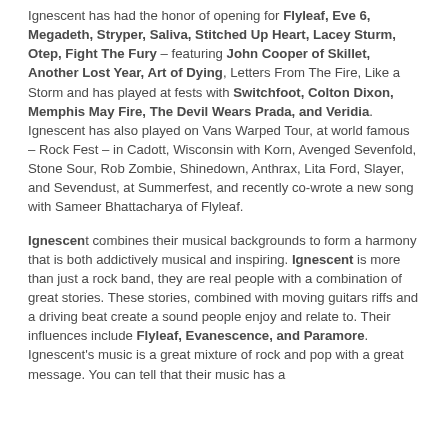Ignescent has had the honor of opening for Flyleaf, Eve 6, Megadeth, Stryper, Saliva, Stitched Up Heart, Lacey Sturm, Otep, Fight The Fury – featuring John Cooper of Skillet, Another Lost Year, Art of Dying, Letters From The Fire, Like a Storm and has played at fests with Switchfoot, Colton Dixon, Memphis May Fire, The Devil Wears Prada, and Veridia. Ignescent has also played on Vans Warped Tour, at world famous – Rock Fest – in Cadott, Wisconsin with Korn, Avenged Sevenfold, Stone Sour, Rob Zombie, Shinedown, Anthrax, Lita Ford, Slayer, and Sevendust, at Summerfest, and recently co-wrote a new song with Sameer Bhattacharya of Flyleaf.
Ignescent combines their musical backgrounds to form a harmony that is both addictively musical and inspiring. Ignescent is more than just a rock band, they are real people with a combination of great stories. These stories, combined with moving guitars riffs and a driving beat create a sound people enjoy and relate to. Their influences include Flyleaf, Evanescence, and Paramore. Ignescent's music is a great mixture of rock and pop with a great message. You can tell that their music has a